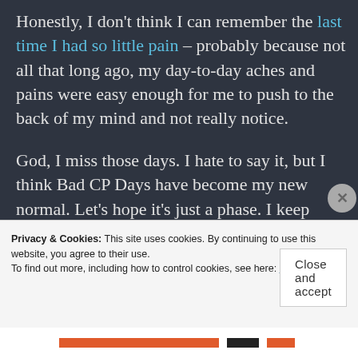Honestly, I don't think I can remember the last time I had so little pain – probably because not all that long ago, my day-to-day aches and pains were easy enough for me to push to the back of my mind and not really notice.
God, I miss those days. I hate to say it, but I think Bad CP Days have become my new normal. Let's hope it's just a phase. I keep telling myself it's just a phase, but to be honest, I feel I'm in my embarking on a long-term relationship with bad CP days for the moment.
Privacy & Cookies: This site uses cookies. By continuing to use this website, you agree to their use. To find out more, including how to control cookies, see here: Cookie Policy
Close and accept